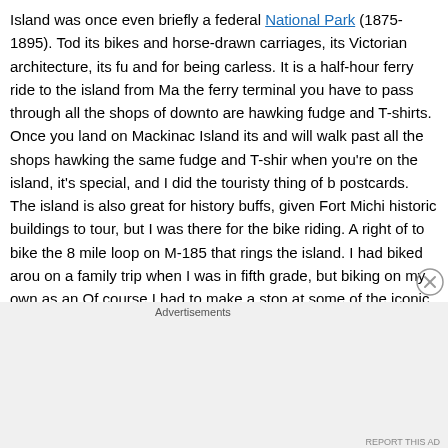Island was once even briefly a federal National Park (1875-1895). Today it is known for its bikes and horse-drawn carriages, its Victorian architecture, its fudge and T-shirts, and for being carless. It is a half-hour ferry ride to the island from Mackinaw City, and at the ferry terminal you have to pass through all the shops of downtown, where all the stores are hawking fudge and T-shirts. Once you land on Mackinac Island itself, you disembark and will walk past all the shops hawking the same fudge and T-shirts. But somehow when you're on the island, it's special, and I did the touristy thing of buying fudge and postcards. The island is also great for history buffs, given Fort Michilimackinac and other historic buildings to tour, but I was there for the bike riding. A right of passage here is to bike the 8 mile loop on M-185 that rings the island. I had biked around the island on a family trip when I was in fifth grade, but biking on my own as an adult was better. Of course I had to make a stop at some of the iconic geological formations like Arch Rock and Skull Cave. And there was no better way to cap off the day than with some fudge from the shop below the Grand Hotel's world-record 660' long front porch.
[Figure (screenshot): Close button (X in circle) in the upper right area of the page, used to dismiss the advertisement section.]
Advertisements
[Figure (screenshot): DuckDuckGo advertisement banner with orange background. Left side shows text 'Search, browse, and email with more privacy.' and a white button 'All in One Free App'. Right side shows a phone illustration with DuckDuckGo logo and text 'DuckDuckGo.']